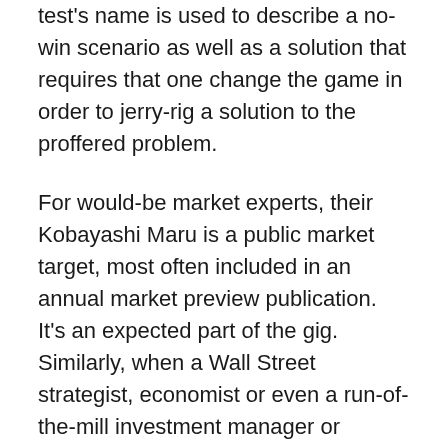test's name is used to describe a no-win scenario as well as a solution that requires that one change the game in order to jerry-rig a solution to the proffered problem.
For would-be market experts, their Kobayashi Maru is a public market target, most often included in an annual market preview publication. It's an expected part of the gig. Similarly, when a Wall Street strategist, economist or even a run-of-the-mill investment manager or analyst gets a crack at financial television, he or she is routinely asked, often as almost an afterthought, to give a specific target forecast for the market. Instead of thinking like Captain Kirk and wisely objecting to the premise of the question, the poor schlemiel answers and, once matters play out, is shown to have been less than prescient. Indeed, as I often say, one forecast that is almost certain to be correct is that market forecasts are almost certain to be wrong.